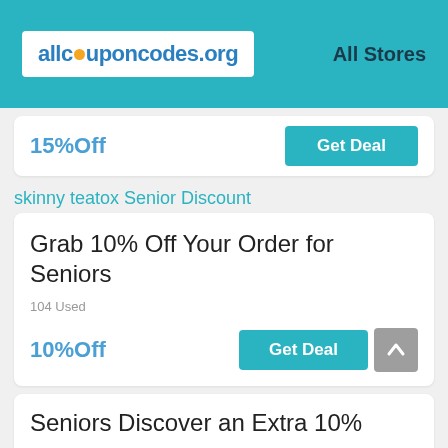allcouponcodes.org  All Stores
15%Off
Get Deal
skinny teatox Senior Discount
Grab 10% Off Your Order for Seniors
104 Used
10%Off
Get Deal
Seniors Discover an Extra 10%